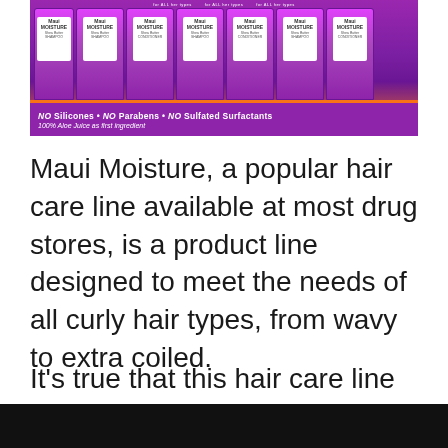[Figure (photo): Shelf display of Maui Moisture hair care products in purple packaging. A purple shelf banner reads: NO Silicones • NO Parabens • NO Sulfated Surfactants and 100% Aloe Juice as first ingredient.]
Maui Moisture, a popular hair care line available at most drug stores, is a product line designed to meet the needs of all curly hair types, from wavy to extra coiled.
It's true that this hair care line is excellent for kinky and curly black hair, but is Maui Moisture a Black-owned business?